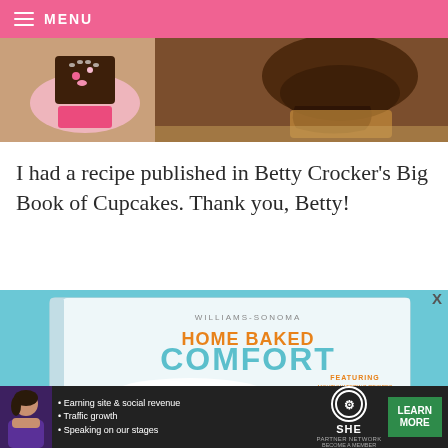MENU
[Figure (photo): Close-up photo of decorated cupcakes including a chocolate square cupcake with pink frosting flowers and a chocolate frosted cupcake]
I had a recipe published in Betty Crocker's Big Book of Cupcakes. Thank you, Betty!
[Figure (photo): Photo of a Williams-Sonoma 'Home Baked Comfort' cookbook on a blue background, showing the cover with orange and teal text and a whipped cream topped dessert image, with text 'Featuring mouthwatering recipes and tales of the sweet life']
[Figure (photo): Advertisement banner for SHE Partner Network with text: Earning site & social revenue, Traffic growth, Speaking on our stages, BECOME A MEMBER, with LEARN MORE button]